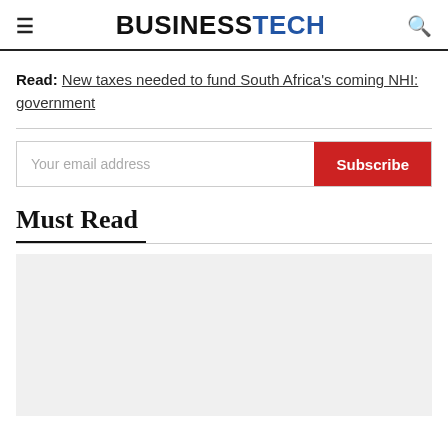BUSINESSTECH
Read: New taxes needed to fund South Africa's coming NHI: government
Must Read
[Figure (photo): Light grey placeholder image for a Must Read article thumbnail]